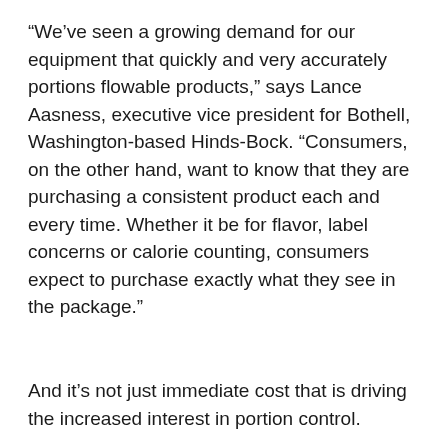“We’ve seen a growing demand for our equipment that quickly and very accurately portions flowable products,” says Lance Aasness, executive vice president for Bothell, Washington-based Hinds-Bock. “Consumers, on the other hand, want to know that they are purchasing a consistent product each and every time. Whether it be for flavor, label concerns or calorie counting, consumers expect to purchase exactly what they see in the package.”
And it’s not just immediate cost that is driving the increased interest in portion control.
“Food safety, labor issues and rising ingredient costs are issues that directly impact the necessity of portion control equipment,” says Andy Sico, interim vice president of...